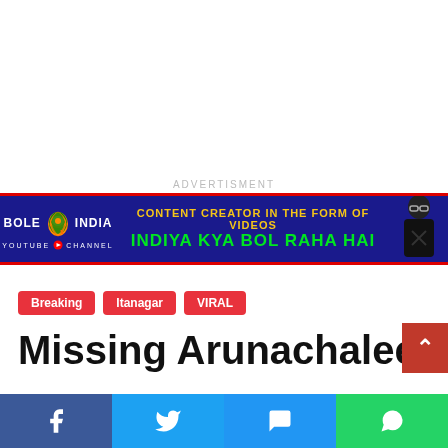[Figure (illustration): White blank top area]
ADVERTISMENT
[Figure (infographic): Bole India YouTube channel advertisement banner with blue background and red border. Text: CONTENT CREATOR IN THE FORM OF VIDEOS, INDIYA KYA BOL RAHA HAI. Includes logo and person silhouette.]
Breaking
Itanagar
VIRAL
Missing Arunachalee
[Figure (infographic): Social sharing bar at bottom with Facebook, Twitter, Messenger, and WhatsApp icons]